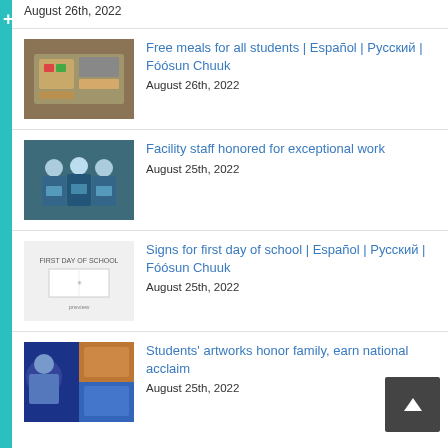August 26th, 2022
Free meals for all students | Español | Русский | Fóósun Chuuk
August 26th, 2022
Facility staff honored for exceptional work
August 25th, 2022
Signs for first day of school | Español | Русский | Fóósun Chuuk
August 25th, 2022
Students' artworks honor family, earn national acclaim
August 25th, 2022